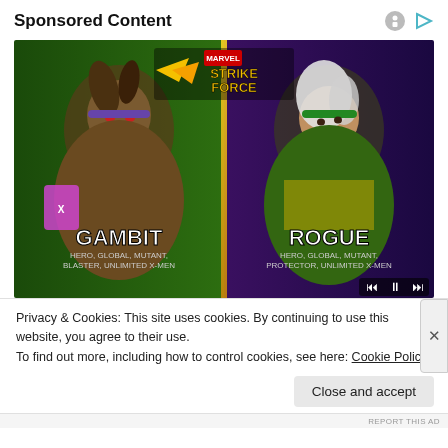Sponsored Content
[Figure (illustration): Marvel Strike Force advertisement showing two characters: Gambit (Hero, Global, Mutant, Blaster, Unlimited X-Men) on the left and Rogue (Hero, Global, Mutant, Protector, Unlimited X-Men) on the right, with the Marvel Strike Force logo at the top center.]
Privacy & Cookies: This site uses cookies. By continuing to use this website, you agree to their use.
To find out more, including how to control cookies, see here: Cookie Policy
Close and accept